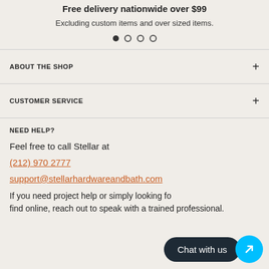Free delivery nationwide over $99
Excluding custom items and over sized items.
ABOUT THE SHOP
CUSTOMER SERVICE
NEED HELP?
Feel free to call Stellar at
(212) 970 2777
support@stellarhardwareandbath.com
If you need project help or simply looking for items hard to find online, reach out to speak with a trained professional.